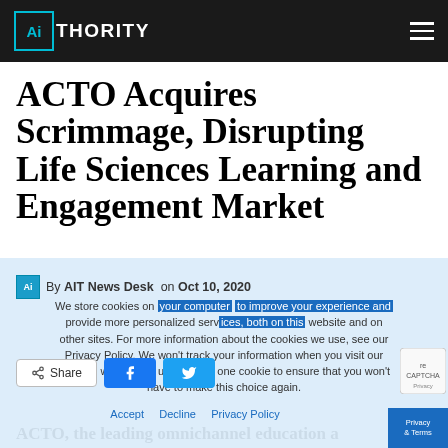AIthority
ACTO Acquires Scrimmage, Disrupting Life Sciences Learning and Engagement Market
By AIT News Desk on Oct 10, 2020
We store cookies on your computer to improve your experience and provide more personalized services, both on this website and on other sites. For more information about the cookies we use, see our Privacy Policy. We won't track your information when you visit our site. We will have to use at least one cookie to ensure that you won't have to make this choice again.
Share
Accept   Decline   Privacy Policy
ACTO, the leading omnichannel education a...